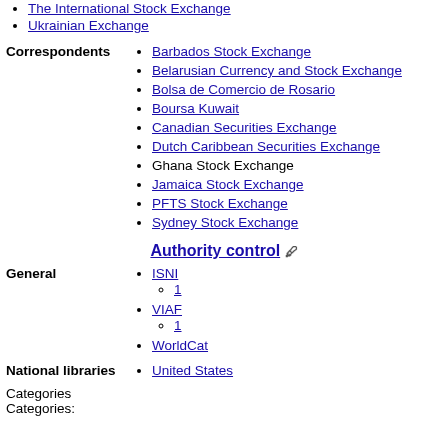The International Stock Exchange
Ukrainian Exchange
Barbados Stock Exchange
Belarusian Currency and Stock Exchange
Bolsa de Comercio de Rosario
Boursa Kuwait
Canadian Securities Exchange
Dutch Caribbean Securities Exchange
Ghana Stock Exchange
Jamaica Stock Exchange
PFTS Stock Exchange
Sydney Stock Exchange
Authority control
ISNI
1
VIAF
1
WorldCat
United States
Categories
Categories: